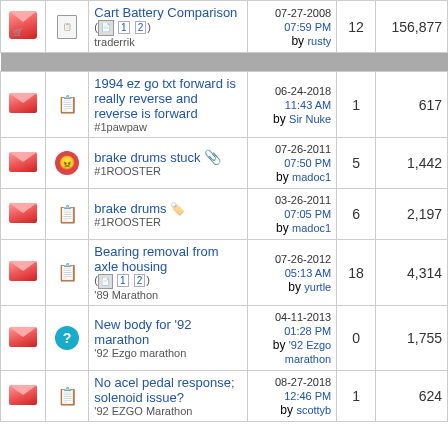|  |  | Topic | Last Post | Replies | Views |
| --- | --- | --- | --- | --- | --- |
| [img] | [page] | Cart Battery Comparison
( 1 2)
traderrik | 07-27-2008 07:59 PM
by rusty | 12 | 156,877 |
| [divider] |  |  |  |  |  |
| [img] | [page] | 1994 ez go txt forward is really reverse and reverse is forward
#1pawpaw | 06-24-2018 11:43 AM
by Sir Nuke | 1 | 617 |
| [img] | [angry] | brake drums stuck
#1ROOSTER | 07-26-2011 07:50 PM
by madoc1 | 5 | 1,442 |
| [img] | [page] | brake drums
#1ROOSTER | 03-26-2011 07:05 PM
by madoc1 | 6 | 2,197 |
| [img] | [page] | Bearing removal from axle housing
( 1 2)
'89 Marathon | 07-26-2012 05:13 AM
by yurtle | 18 | 4,314 |
| [img] | [?] | New body for '92 marathon
'92 Ezgo marathon | 04-11-2013 01:28 PM
by '92 Ezgo marathon | 0 | 1,755 |
| [img] | [page] | No acel pedal response; solenoid issue?
'92 EZGO Marathon | 08-27-2018 12:46 PM
by scottyb | 1 | 624 |